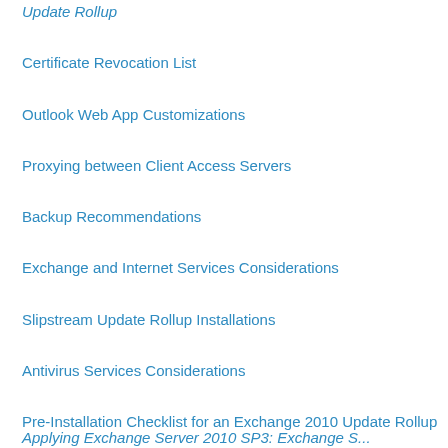Update Rollup
Certificate Revocation List
Outlook Web App Customizations
Proxying between Client Access Servers
Backup Recommendations
Exchange and Internet Services Considerations
Slipstream Update Rollup Installations
Antivirus Services Considerations
Pre-Installation Checklist for an Exchange 2010 Update Rollup
Install an Exchange 2010 Update Rollup
Post-Installation of an Exchange 2010 Update Rollup
View the Exchange 2010 Version Number
View Installed Update Rollups
Remove an Update Rollup
Exchange Server Build Numbers and Release Dates
Applying Exchange Server 2010 SP3: Exchange S...